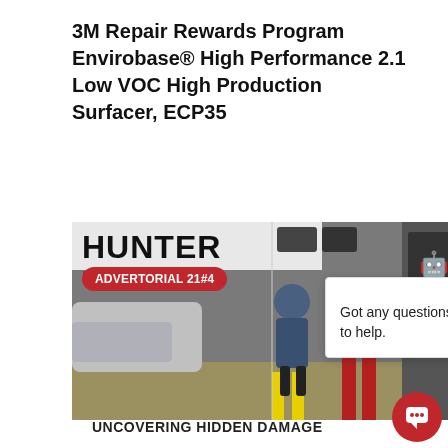3M Repair Rewards Program Envirobase® High Performance 2.1 Low VOC High Production Surfacer, ECP35
[Figure (photo): Auto repair shop scene showing a mechanic working near a car on a lift with HUNTER branding visible, overlaid with a red ADVERTORIAL 21#4 badge]
[Figure (screenshot): Chat popup overlay with avatar icon, close X button, and text: Got any questions? I'm happy to help.]
UNCOVERING HIDDEN DAMAGE